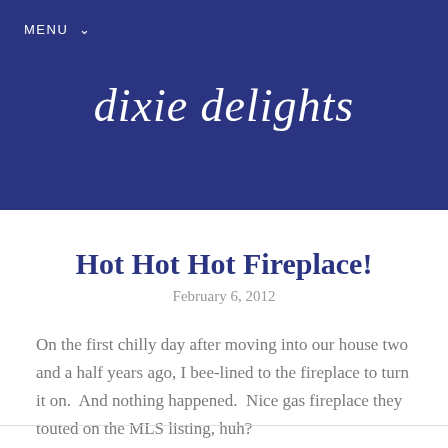MENU
dixie delights
Hot Hot Hot Fireplace!
February 6, 2012
On the first chilly day after moving into our house two and a half years ago, I bee-lined to the fireplace to turn it on.  And nothing happened.  Nice gas fireplace they touted on the MLS listing, huh?